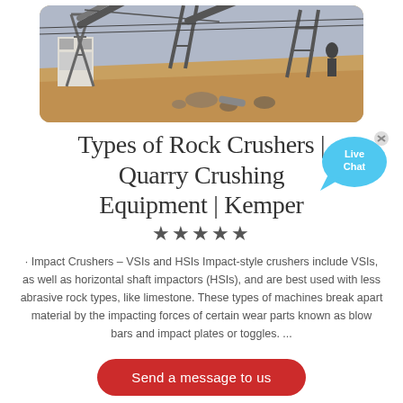[Figure (photo): Aerial/ground-level view of a quarry rock crushing facility with conveyor belts, steel structures, sandy ground, and heavy machinery.]
Types of Rock Crushers | Quarry Crushing Equipment | Kemper
★★★★★
· Impact Crushers – VSIs and HSIs Impact-style crushers include VSIs, as well as horizontal shaft impactors (HSIs), and are best used with less abrasive rock types, like limestone. These types of machines break apart material by the impacting forces of certain wear parts known as blow bars and impact plates or toggles. ...
Send a message to us